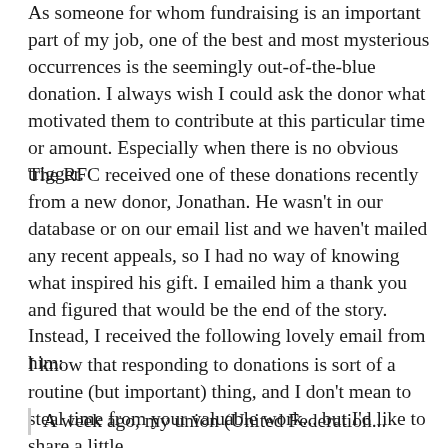As someone for whom fundraising is an important part of my job, one of the best and most mysterious occurrences is the seemingly out-of-the-blue donation. I always wish I could ask the donor what motivated them to contribute at this particular time or amount. Especially when there is no obvious trigger.
The RFC received one of these donations recently from a new donor, Jonathan. He wasn't in our database or on our email list and we haven't mailed any recent appeals, so I had no way of knowing what inspired his gift. I emailed him a thank you and figured that would be the end of the story. Instead, I received the following lovely email from him:
I know that responding to donations is sort of a routine (but important) thing, and I don't mean to steal time from your valuable work... but I'd like to share a little.
A week ago, my union (United Federation...